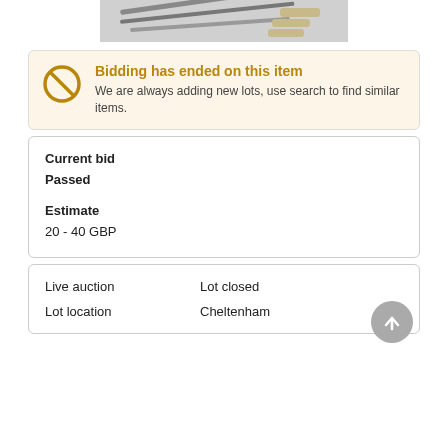[Figure (photo): Partial photo of knives/cutlery on a light background, cropped at top]
Bidding has ended on this item
We are always adding new lots, use search to find similar items.
Current bid
Passed
Estimate
20 - 40 GBP
Live auction   Lot closed
Lot location   Cheltenham